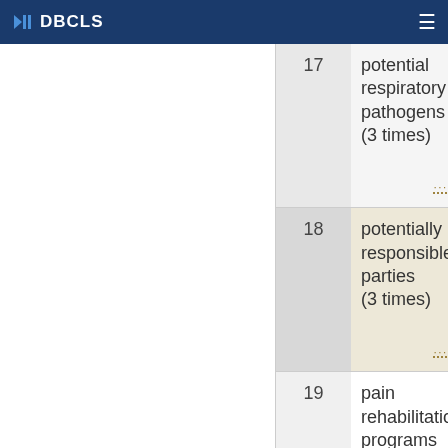DBCLS
| # | Term | Related |
| --- | --- | --- |
| 17 | potential respiratory pathogens (3 times) | Dentis… (2 time… |
| 18 | potentially responsible parties (3 times) | Enviro… Health… (3 time… |
| 19 | pain rehabilitation programs (2 times) | Neurol… (2 time… |